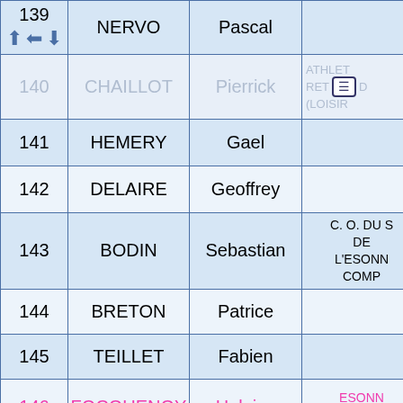| # | Last Name | First Name | Club |
| --- | --- | --- | --- |
| 139 | NERVO | Pascal |  |
| 140 | CHAILLOT | Pierrick | ATHLET... RET... D... (LOISIR... |
| 141 | HEMERY | Gael |  |
| 142 | DELAIRE | Geoffrey |  |
| 143 | BODIN | Sebastian | C. O. DU S DE L'ESONN COMP |
| 144 | BRETON | Patrice |  |
| 145 | TEILLET | Fabien |  |
| 146 | FOCQUENOY | Heloise | ESONN ATHLETI |
| 147 | LOGEAIS | Didier |  |